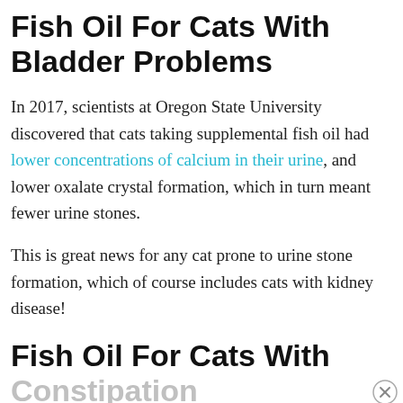Fish Oil For Cats With Bladder Problems
In 2017, scientists at Oregon State University discovered that cats taking supplemental fish oil had lower concentrations of calcium in their urine, and lower oxalate crystal formation, which in turn meant fewer urine stones.
This is great news for any cat prone to urine stone formation, which of course includes cats with kidney disease!
Fish Oil For Cats With Constipation